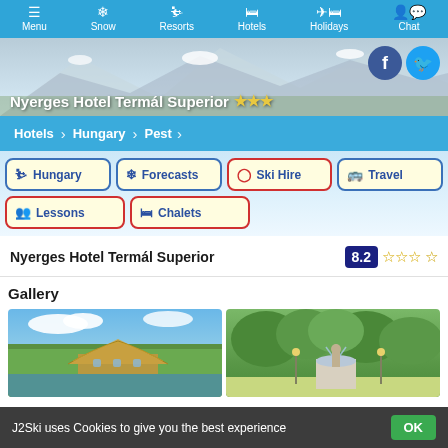Menu | Snow | Resorts | Hotels | Holidays | Chat
Nyerges Hotel Termál Superior ★★★
Hotels > Hungary > Pest
Hungary
Forecasts
Ski Hire
Travel
Lessons
Chalets
Nyerges Hotel Termál Superior  8.2 ★★★
Gallery
[Figure (photo): Photo of Nyerges Hotel Termál Superior showing a thatched-roof building over water surrounded by trees]
[Figure (photo): Photo of hotel garden with fountain and trees]
J2Ski uses Cookies to give you the best experience  OK